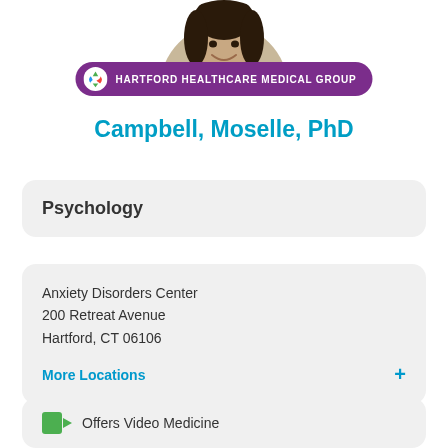[Figure (photo): Circular cropped headshot of a smiling woman with long dark hair, partially visible at top of page]
[Figure (logo): Hartford Healthcare Medical Group logo badge - purple rounded rectangle with recycling-style icon and white text]
Campbell, Moselle, PhD
Psychology
Anxiety Disorders Center
200 Retreat Avenue
Hartford, CT 06106
More Locations +
Offers Video Medicine